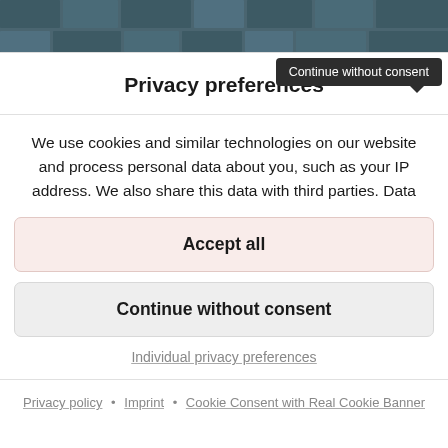[Figure (screenshot): Top portion of a webpage showing a dark teal/slate tiled or cobblestone background image, partially visible at the top of the page]
Continue without consent
Privacy preferences
We use cookies and similar technologies on our website and process personal data about you, such as your IP address. We also share this data with third parties. Data
Accept all
Continue without consent
Individual privacy preferences
Privacy policy • Imprint • Cookie Consent with Real Cookie Banner